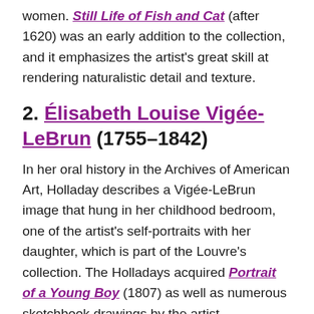women. Still Life of Fish and Cat (after 1620) was an early addition to the collection, and it emphasizes the artist's great skill at rendering naturalistic detail and texture.
2. Élisabeth Louise Vigée-LeBrun (1755–1842)
In her oral history in the Archives of American Art, Holladay describes a Vigée-LeBrun image that hung in her childhood bedroom, one of the artist's self-portraits with her daughter, which is part of the Louvre's collection. The Holladays acquired Portrait of a Young Boy (1807) as well as numerous sketchbook drawings by the artist